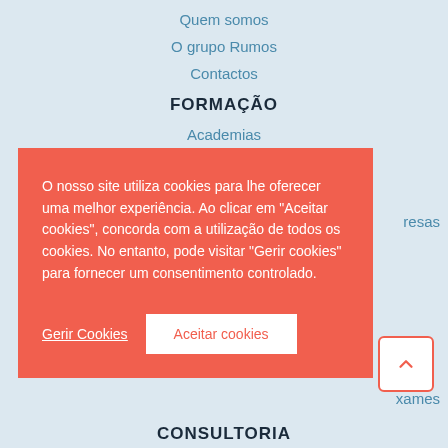Quem somos
O grupo Rumos
Contactos
FORMAÇÃO
Academias
…resas
[Figure (screenshot): Cookie consent overlay with text in Portuguese and two buttons: 'Gerir Cookies' and 'Aceitar cookies']
…xames
CONSULTORIA